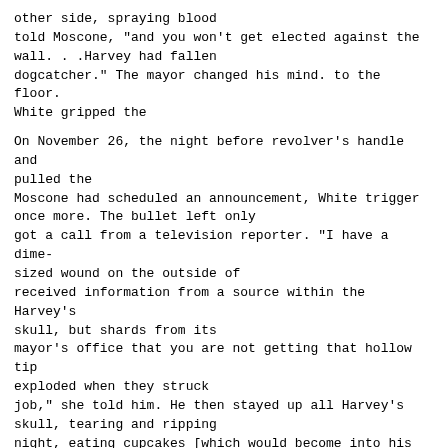other side, spraying blood
told Moscone, "and you won't get elected against the
wall. . .Harvey had fallen
dogcatcher." The mayor changed his mind. to the floor.
White gripped the
On November 26, the night before revolver's handle and
pulled the
Moscone had scheduled an announcement, White trigger
once more. The bullet left only
got a call from a television reporter. "I have a dime-
sized wound on the outside of
received information from a source within the Harvey's
skull, but shards from its
mayor's office that you are not getting that hollow tip
exploded when they struck
job," she told him. He then stayed up all Harvey's
skull, tearing and ripping
night, eating cupcakes [which would become into his
brain. Harvey Milk died at
significant later) and drinking Cokes. approximately
10:55 a.m. on the dark
At 9 a.m., he picked up his fully loaded gray morning
of November 27, 1978, a
.38 Smith 8 Wesson, some extra ammunition, year and a
half short of his fiftieth
and headed for City Hall. Sneaking in birthday.
through a side window - a sure way to avoid
the metal detector at the main entrance - he That day,